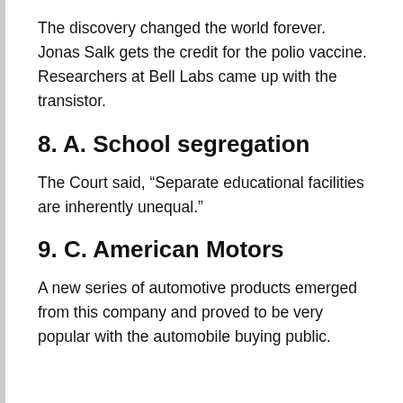The discovery changed the world forever. Jonas Salk gets the credit for the polio vaccine. Researchers at Bell Labs came up with the transistor.
8. A. School segregation
The Court said, “Separate educational facilities are inherently unequal.”
9. C. American Motors
A new series of automotive products emerged from this company and proved to be very popular with the automobile buying public.